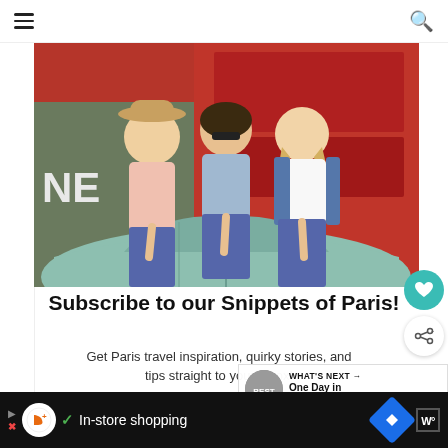[Figure (photo): Three young women posing on top of a vintage mint-green car in front of a red storefront in Paris]
Subscribe to our Snippets of Paris!
Get Paris travel inspiration, quirky stories, and tips straight to your inbox!
First Name
WHAT'S NEXT → One Day in Paris – How ...
In-store shopping